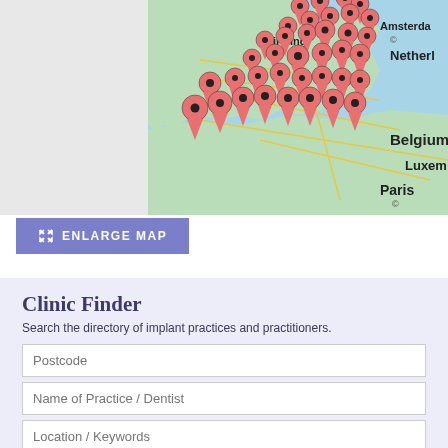[Figure (map): Interactive map showing UK and Western Europe with multiple red location pin markers clustered over England, particularly the Midlands. Map shows Birmingham, Amsterdam, Netherlands, Belgium, Luxembourg, and Paris labels. Left portion is a gray/empty map area.]
ENLARGE MAP
Clinic Finder
Search the directory of implant practices and practitioners.
Postcode
Name of Practice / Dentist
Location / Keywords
Submit